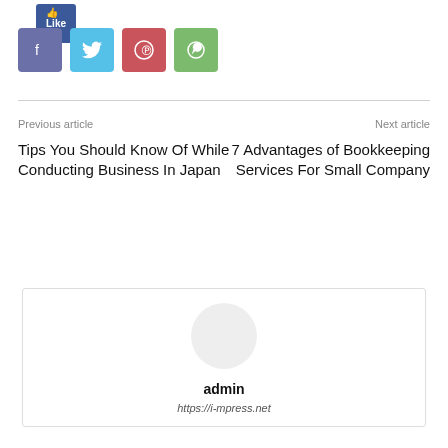[Figure (other): Social media share buttons: Facebook (blue-purple), Twitter (light blue), Pinterest (red), WhatsApp (green)]
Previous article
Next article
Tips You Should Know Of While Conducting Business In Japan
7 Advantages of Bookkeeping Services For Small Company
admin
https://i-mpress.net